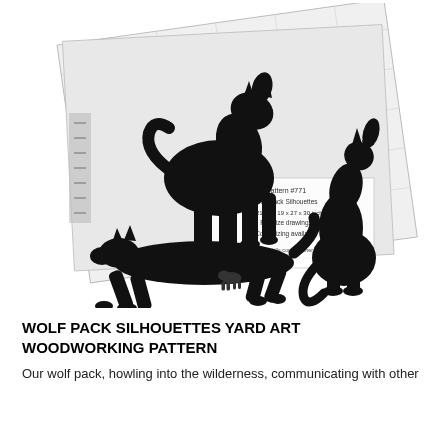[Figure (illustration): Woodworking pattern sheet showing three wolf silhouettes in black — one large wolf standing and howling, one sitting wolf howling, and one crouching/running wolf — overlaid on a pattern sheet with text details about dimensions and product info.]
WOLF PACK SILHOUETTES YARD ART WOODWORKING PATTERN
Our wolf pack, howling into the wilderness, communicating with other